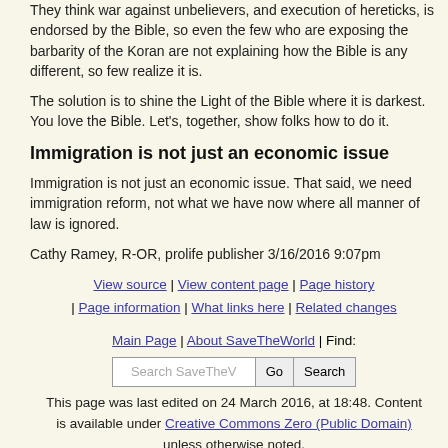They think war against unbelievers, and execution of hereticks, is endorsed by the Bible, so even the few who are exposing the barbarity of the Koran are not explaining how the Bible is any different, so few realize it is.
The solution is to shine the Light of the Bible where it is darkest. You love the Bible. Let's, together, show folks how to do it.
Immigration is not just an economic issue
Immigration is not just an economic issue. That said, we need immigration reform, not what we have now where all manner of law is ignored.
Cathy Ramey, R-OR, prolife publisher 3/16/2016 9:07pm
View source | View content page | Page history | Page information | What links here | Related changes
Main Page | About SaveTheWorld | Find: [Search SaveTheV] [Go] [Search]
This page was last edited on 24 March 2016, at 18:48. Content is available under Creative Commons Zero (Public Domain) unless otherwise noted.